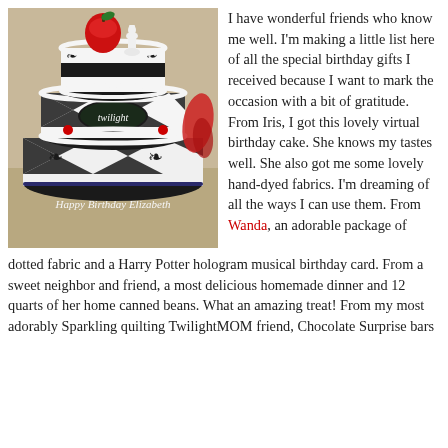[Figure (photo): A three-tiered Twilight-themed birthday cake decorated in black and white with harlequin pattern, black scrollwork, a red apple on top, a white chess piece, red ladybug decorations, and 'Happy Birthday Elizabeth' written on the bottom tier. A red ribbon/bow is visible on the right side.]
I have wonderful friends who know me well. I'm making a little list here of all the special birthday gifts I received because I want to mark the occasion with a bit of gratitude. From Iris, I got this lovely virtual birthday cake. She knows my tastes well. She also got me some lovely hand-dyed fabrics. I'm dreaming of all the ways I can use them. From Wanda, an adorable package of dotted fabric and a Harry Potter hologram musical birthday card. From a sweet neighbor and friend, a most delicious homemade dinner and 12 quarts of her home canned beans. What an amazing treat! From my most adorably Sparkling quilting TwilightMOM friend, Chocolate Surprise bars